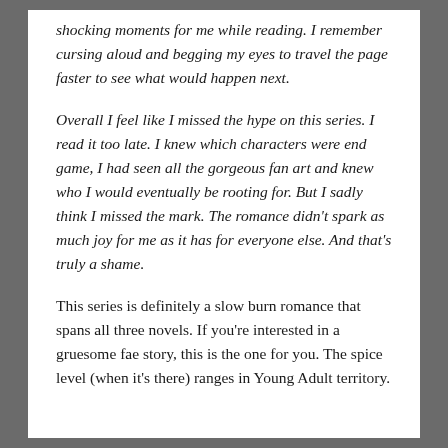shocking moments for me while reading. I remember cursing aloud and begging my eyes to travel the page faster to see what would happen next.
Overall I feel like I missed the hype on this series. I read it too late. I knew which characters were end game, I had seen all the gorgeous fan art and knew who I would eventually be rooting for. But I sadly think I missed the mark. The romance didn't spark as much joy for me as it has for everyone else. And that's truly a shame.
This series is definitely a slow burn romance that spans all three novels. If you're interested in a gruesome fae story, this is the one for you. The spice level (when it's there) ranges in Young Adult territory.